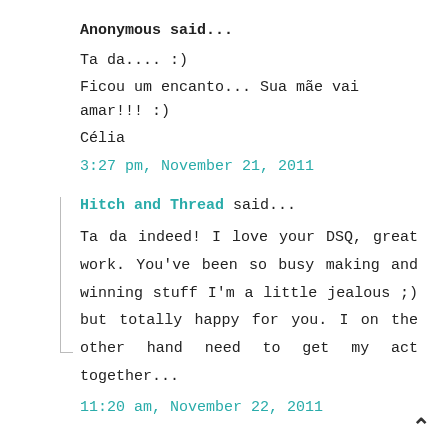Anonymous said...
Ta da.... :)
Ficou um encanto... Sua mãe vai amar!!! :)
Célia
3:27 pm, November 21, 2011
Hitch and Thread said...
Ta da indeed! I love your DSQ, great work. You've been so busy making and winning stuff I'm a little jealous ;) but totally happy for you. I on the other hand need to get my act together...
11:20 am, November 22, 2011